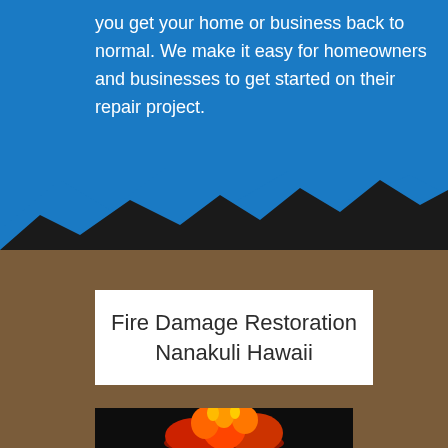you get your home or business back to normal. We make it easy for homeowners and businesses to get started on their repair project.
[Figure (illustration): Stylized mountain silhouette graphic with blue and black peaks separating blue banner from brown textured background]
Fire Damage Restoration Nanakuli Hawaii
[Figure (photo): Photo of fire/flames with orange and red colors against a dark background]